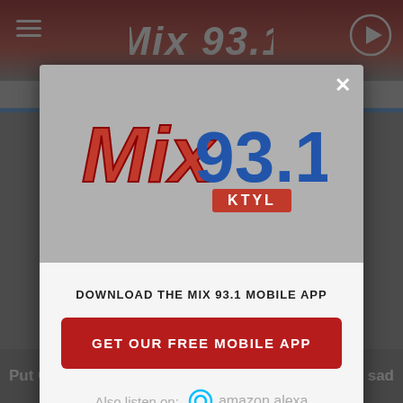[Figure (screenshot): Mix 93.1 KTYL radio station website with a modal popup dialog overlaying the page. The modal shows the Mix 93.1 KTYL logo, a prompt to download the mobile app, a red 'GET OUR FREE MOBILE APP' button, and an 'Also listen on: amazon alexa' section. At the bottom is a Tally advertisement bar with 'Fast credit card payoff' text and a 'Download Now' button.]